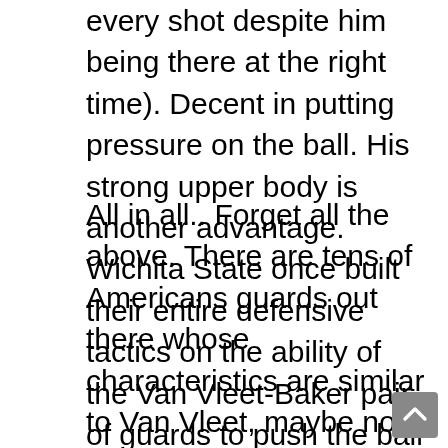every shot despite him being there at the right time). Decent in putting pressure on the ball. His strong upper body is another advantage. Wichita State once built their entire defensive tactics on the ability of the Van Vleet-Baker pair of guards to push the ball and their opponents' offense away from the Shockers' basket..
All in all.. Forget all the above. There are tens of Americans guards out there whose characteristics are similar to Van Vleet, maybe not in their entirety but in certain aspects of the game. However, this particular player didn't just happen to pop into this page and your screens today. His uniqueness lies in another level, the one regarding his character both on and off the court. A High IQ-High Character winner. The winning culture accompanying him, the result of his clutch performance at the end of closed games, and the leadership that his presence may bring along in a good European tea aren't assets easily detected in similar cases of players a this age. Coach Sfairopoulos is there (Las Vegas) and he can